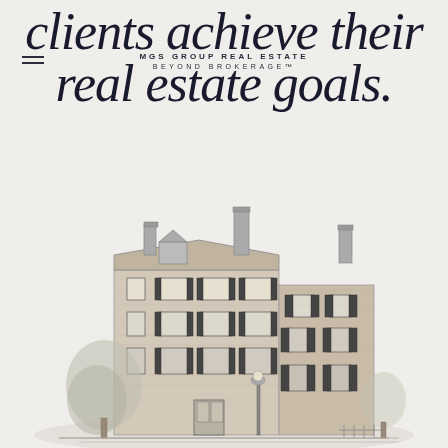clients achieve their real estate goals.
MGS GROUP REAL ESTATE
BEYOND BROKERAGE™
[Figure (illustration): Pencil sketch illustration of a classic multi-story brick building on a street corner, with chimneys, shuttered windows, trees, and a lamppost in the foreground.]